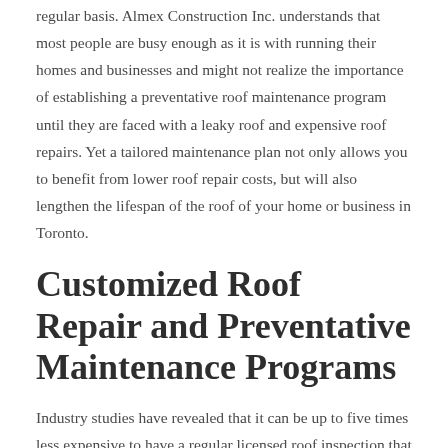regular basis. Almex Construction Inc. understands that most people are busy enough as it is with running their homes and businesses and might not realize the importance of establishing a preventative roof maintenance program until they are faced with a leaky roof and expensive roof repairs. Yet a tailored maintenance plan not only allows you to benefit from lower roof repair costs, but will also lengthen the lifespan of the roof of your home or business in Toronto.
Customized Roof Repair and Preventative Maintenance Programs
Industry studies have revealed that it can be up to five times less expensive to have a regular licensed roof inspection that to wait for a roof problem to appear. Almex Construction Inc.